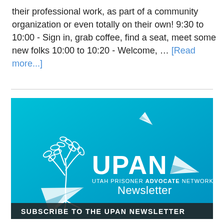their professional work, as part of a community organization or even totally on their own! 9:30 to 10:00 - Sign in, grab coffee, find a seat, meet some new folks 10:00 to 10:20 - Welcome, … [Read more...]
[Figure (logo): UPAN Utah Prisoner Advocate Network Newsletter banner image with teal gradient background, white tree illustration, paper airplanes, and text 'SUBSCRIBE TO THE UPAN NEWSLETTER' on dark bar at bottom.]